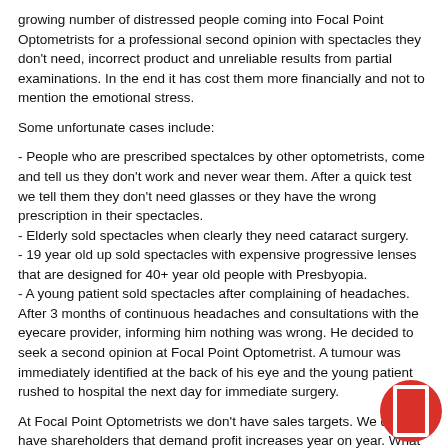growing number of distressed people coming into Focal Point Optometrists for a professional second opinion with spectacles they don't need, incorrect product and unreliable results from partial examinations. In the end it has cost them more financially and not to mention the emotional stress.
Some unfortunate cases include:
- People who are prescribed spectalces by other optometrists, come and tell us they don't work and never wear them. After a quick test we tell them they don't need glasses or they have the wrong prescription in their spectacles.
- Elderly sold spectacles when clearly they need cataract surgery.
- 19 year old up sold spectacles with expensive progressive lenses that are designed for 40+ year old people with Presbyopia.
- A young patient sold spectacles after complaining of headaches. After 3 months of continuous headaches and consultations with the eyecare provider, informing him nothing was wrong. He decided to seek a second opinion at Focal Point Optometrist. A tumour was immediately identified at the back of his eye and the young patient rushed to hospital the next day for immediate surgery.
At Focal Point Optometrists we don't have sales targets. We don't have shareholders that demand profit increases year on year. What we do have is pride and the high ethical standards that we stand by. Knowing we have done the right thing for our clients is more gratifying than the bottom line.